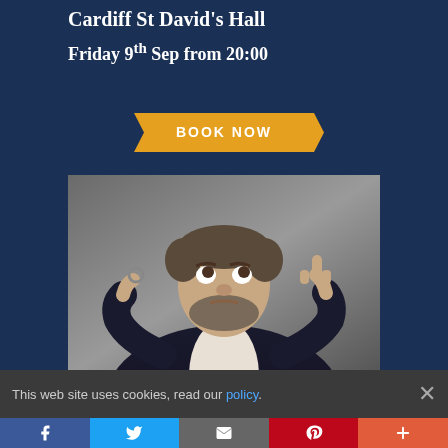Cardiff St David's Hall
Friday 9th Sep from 20:00
[Figure (other): Orange banner button with text 'BOOK NOW']
[Figure (photo): A man in a dark jacket holding a ring in one hand and showing a bare ring finger on the other hand, making a comedic expression]
This web site uses cookies, read our policy.
[Figure (other): Social sharing bar with Facebook, Twitter, Email, Pinterest, and More buttons]